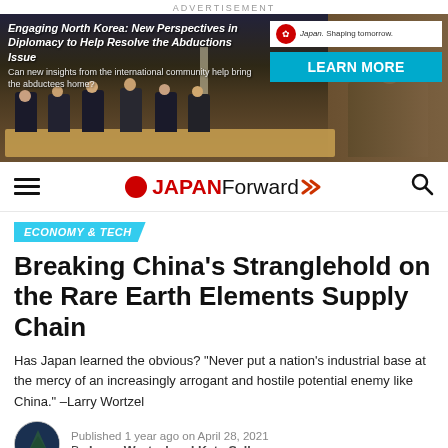ADVERTISEMENT
[Figure (photo): Advertisement banner for 'Engaging North Korea: New Perspectives in Diplomacy to Help Resolve the Abductions Issue' with Japan Shaping Tomorrow logo and LEARN MORE button, showing a conference room scene with panelists seated at a table.]
JAPAN Forward (navigation logo with hamburger menu and search icon)
ECONOMY & TECH
Breaking China's Stranglehold on the Rare Earth Elements Supply Chain
Has Japan learned the obvious? "Never put a nation's industrial base at the mercy of an increasingly arrogant and hostile potential enemy like China." –Larry Wortzel
Published 1 year ago on April 28, 2021
By Larry Wortzel and Kate Selley